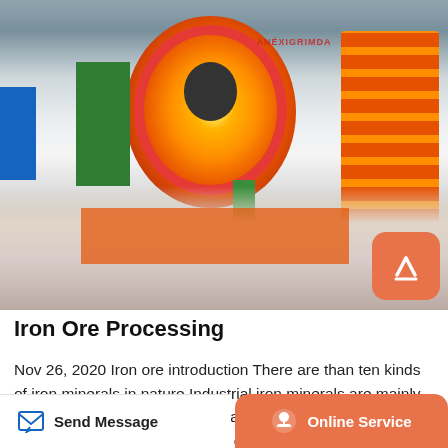[Figure (photo): Industrial mining machinery showing large orange ball mill and mechanical equipment at a mining processing site]
Iron Ore Processing
Nov 26, 2020 Iron ore introduction There are than ten kinds of iron minerals in nature.Industrial iron minerals are mainly magnetite, hematite and imaginary hematite followed by siderite, limonite and so on.Iron ore is an important raw material for
Send Message   Online Service